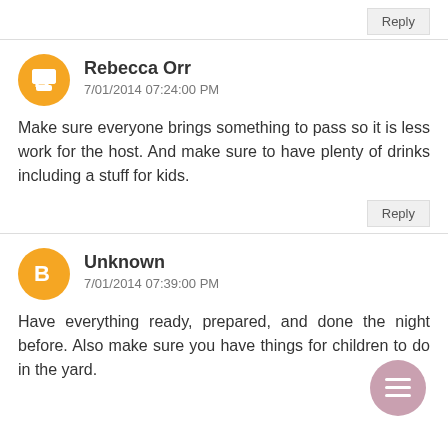Reply
Rebecca Orr
7/01/2014 07:24:00 PM
Make sure everyone brings something to pass so it is less work for the host. And make sure to have plenty of drinks including a stuff for kids.
Reply
Unknown
7/01/2014 07:39:00 PM
Have everything ready, prepared, and done the night before. Also make sure you have things for children to do in the yard.